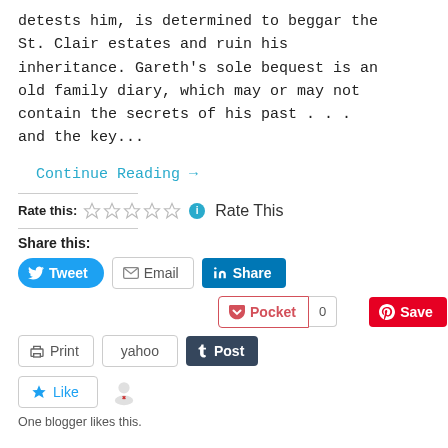detests him, is determined to beggar the St. Clair estates and ruin his inheritance. Gareth's sole bequest is an old family diary, which may or may not contain the secrets of his past . . . and the key...
Continue Reading →
Rate this: ☆☆☆☆☆ ℹ Rate This
Share this:
[Figure (screenshot): Social share buttons: Tweet, Email, LinkedIn Share, Pocket (0), Pinterest Save, Print, yahoo, Tumblr Post, Like button]
One blogger likes this.